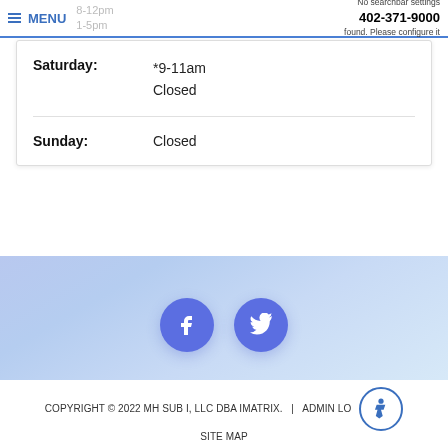MENU | Friday: 8-12pm 1-5pm | No searchbar settings found. Please configure it | 402-371-9000
| Day | Hours |
| --- | --- |
| Saturday: | *9-11am
Closed |
| Sunday: | Closed |
[Figure (illustration): Social media icons: Facebook and Twitter circular buttons on a light blue-purple gradient background]
COPYRIGHT © 2022 MH SUB I, LLC DBA IMATRIX.  |  ADMIN LOG  SITE MAP